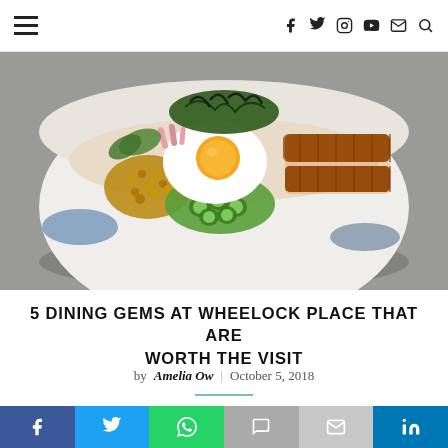Navigation header with hamburger menu and social icons (f, twitter, instagram, youtube, email, search)
[Figure (photo): A Japanese rice bowl (donburi) with fried egg, unagi (grilled eel), okra, natto (fermented soybeans), seaweed, and other toppings, served in a white bowl with blue brushstroke pattern on a grey background.]
5 DINING GEMS AT WHEELOCK PLACE THAT ARE WORTH THE VISIT
by Amelia Ow | October 5, 2018
[Figure (infographic): Social share buttons bar: Facebook (blue), Twitter (light blue), WhatsApp (green), SMS (grey), Email (light grey), LinkedIn (dark blue)]